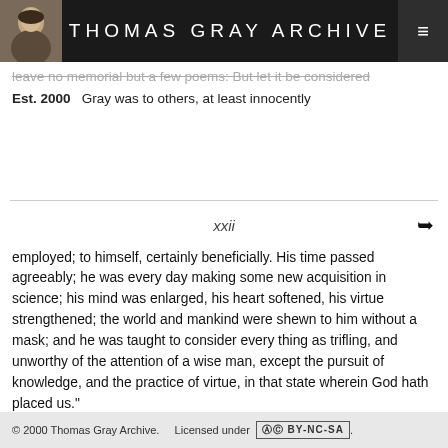THOMAS GRAY ARCHIVE
leave no memorial but a few poems: But let it be considered
Est. 2000   Gray was to others, at least innocently
xxii
employed; to himself, certainly beneficially. His time passed agreeably; he was every day making some new acquisition in science; his mind was enlarged, his heart softened, his virtue strengthened; the world and mankind were shewn to him without a mask; and he was taught to consider every thing as trifling, and unworthy of the attention of a wise man, except the pursuit of knowledge, and the practice of virtue, in that state wherein God hath placed us."
II. Gray's Productivity
© 2000 Thomas Gray Archive.    Licensed under  (cc) BY-NC-SA .